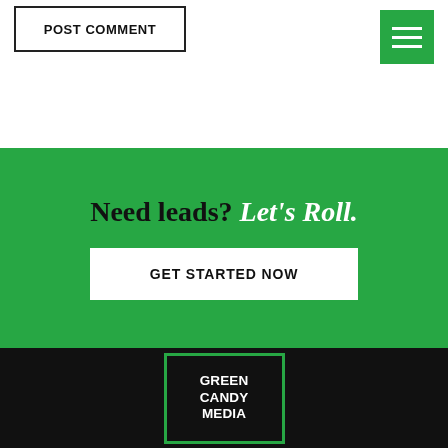POST COMMENT
[Figure (other): Green hamburger menu icon with three white horizontal bars]
Need leads? Let's Roll.
GET STARTED NOW
[Figure (logo): Green Candy Media logo: black background with green border, white bold text reading GREEN CANDY MEDIA]